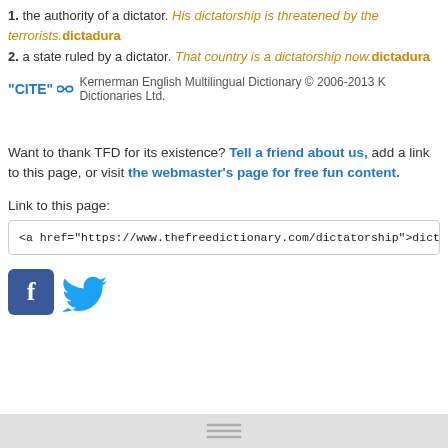1. the authority of a dictator. His dictatorship is threatened by the terrorists. dictadura
2. a state ruled by a dictator. That country is a dictatorship now. dictadura
"CITE" [link icon] Kernerman English Multilingual Dictionary © 2006-2013 K Dictionaries Ltd.
Want to thank TFD for its existence? Tell a friend about us, add a link to this page, or visit the webmaster's page for free fun content.
Link to this page:
<a href="https://www.thefreedictionary.com/dictatorship">dictatorship</a>
[Figure (logo): Facebook and Twitter social media icons side by side]
hamburger menu icon bar